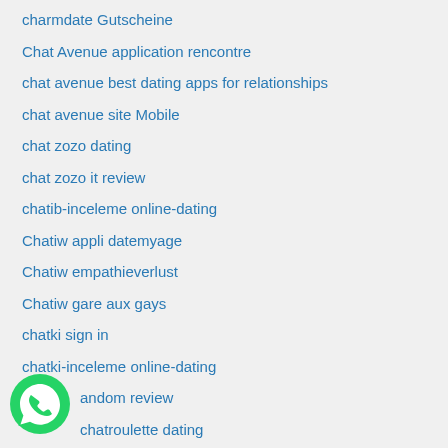charmdate Gutscheine
Chat Avenue application rencontre
chat avenue best dating apps for relationships
chat avenue site Mobile
chat zozo dating
chat zozo it review
chatib-inceleme online-dating
Chatiw appli datemyage
Chatiw empathieverlust
Chatiw gare aux gays
chatki sign in
chatki-inceleme online-dating
chatrandom review
chatroulette dating
[Figure (logo): WhatsApp green phone icon in bottom left corner]